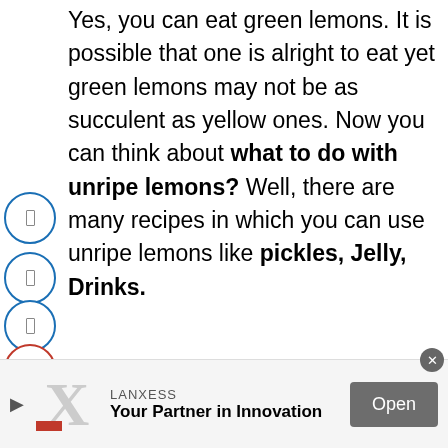Yes, you can eat green lemons. It is possible that one is alright to eat yet green lemons may not be as succulent as yellow ones. Now you can think about what to do with unripe lemons? Well, there are many recipes in which you can use unripe lemons like pickles, Jelly, Drinks.
Q5: What Month Do My Lemons Turn Yellow?
[Figure (screenshot): Advertisement bar for LANXESS - Your Partner in Innovation with Open button]